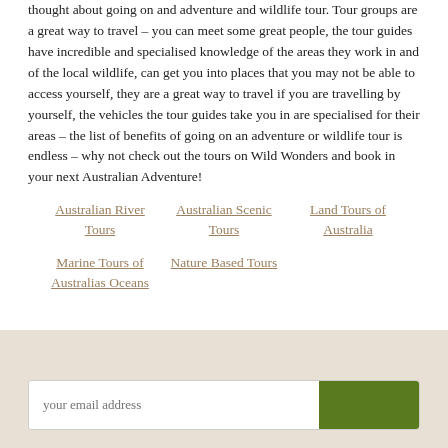thought about going on and adventure and wildlife tour. Tour groups are a great way to travel – you can meet some great people, the tour guides have incredible and specialised knowledge of the areas they work in and of the local wildlife, can get you into places that you may not be able to access yourself, they are a great way to travel if you are travelling by yourself, the vehicles the tour guides take you in are specialised for their areas – the list of benefits of going on an adventure or wildlife tour is endless – why not check out the tours on Wild Wonders and book in your next Australian Adventure!
Australian River Tours
Australian Scenic Tours
Land Tours of Australia
Marine Tours of Australias Oceans
Nature Based Tours